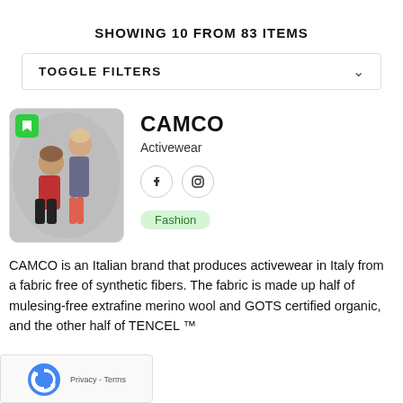SHOWING 10 FROM 83 ITEMS
TOGGLE FILTERS
[Figure (photo): Two athletic models, a man in red and a woman in grey, posing for activewear brand CAMCO]
CAMCO
Activewear
Fashion
CAMCO is an Italian brand that produces activewear in Italy from a fabric free of synthetic fibers. The fabric is made up half of mulesing-free extrafine merino wool and GOTS certified organic, and the other half of TENCEL ™